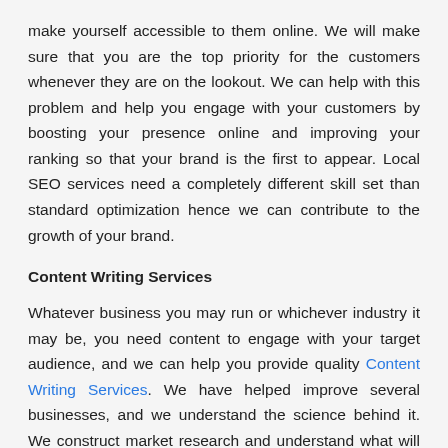make yourself accessible to them online. We will make sure that you are the top priority for the customers whenever they are on the lookout. We can help with this problem and help you engage with your customers by boosting your presence online and improving your ranking so that your brand is the first to appear. Local SEO services need a completely different skill set than standard optimization hence we can contribute to the growth of your brand.
Content Writing Services
Whatever business you may run or whichever industry it may be, you need content to engage with your target audience, and we can help you provide quality Content Writing Services. We have helped improve several businesses, and we understand the science behind it. We construct market research and understand what will sell before coming up